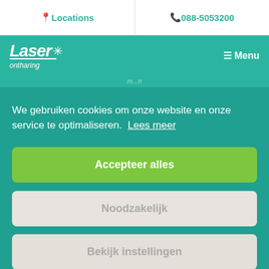📍 Locations   📞 088-5053200
[Figure (logo): Laser ontharing logo in white italic text with asterisk on teal navigation bar, with hamburger Menu button]
We gebruiken cookies om onze website en onze service te optimaliseren.  Lees meer
Accepteer alles
Noodzakelijk
Bekijk instellingen